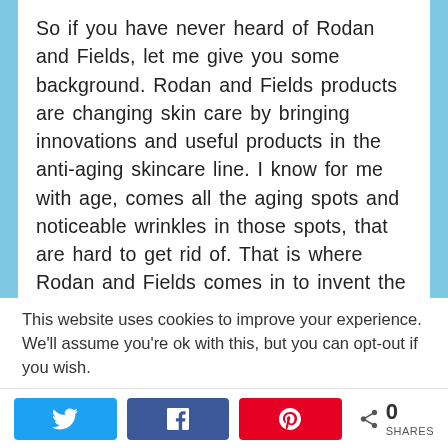So if you have never heard of Rodan and Fields, let me give you some background. Rodan and Fields products are changing skin care by bringing innovations and useful products in the anti-aging skincare line. I know for me with age, comes all the aging spots and noticeable wrinkles in those spots, that are hard to get rid of. That is where Rodan and Fields comes in to invent the ultimate anti-aging system,. Rodan and Dr. Fields, the creator of Proactiv Solution, made the Rodan and Fields patent-pending AMP MD System to make real results without injections for anti
This website uses cookies to improve your experience. We'll assume you're ok with this, but you can opt-out if you wish.
[Figure (infographic): Social share bar with Twitter, Facebook, Pinterest buttons and a share count showing 0 SHARES]